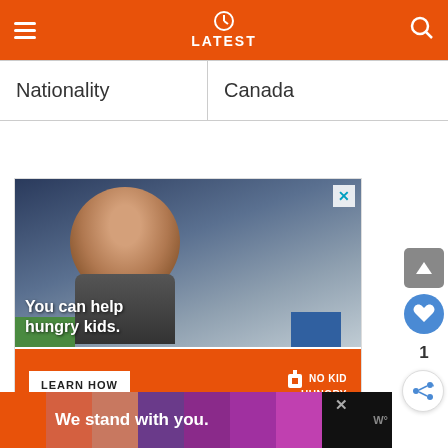LATEST
| Nationality | Canada |
| --- | --- |
[Figure (photo): No Kid Hungry advertisement showing a child eating, with text 'You can help hungry kids.' and a 'LEARN HOW' button on an orange background with No Kid Hungry logo]
[Figure (infographic): Bottom advertisement with colored blocks and text 'We stand with you.']